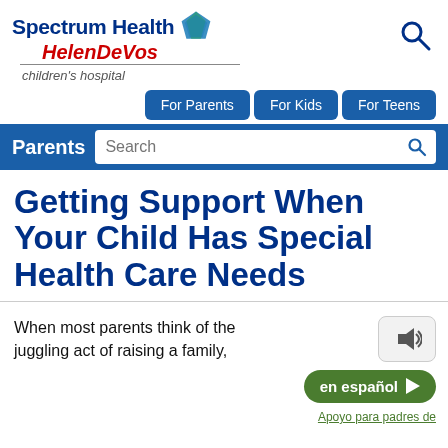[Figure (logo): Spectrum Health Helen DeVos Children's Hospital logo with blue and green diamond graphic]
For Parents | For Kids | For Teens | Parents Search bar
Getting Support When Your Child Has Special Health Care Needs
When most parents think of the juggling act of raising a family,
[Figure (other): Audio speaker button icon]
[Figure (other): en español button with play arrow, and Apoyo para padres de link below]